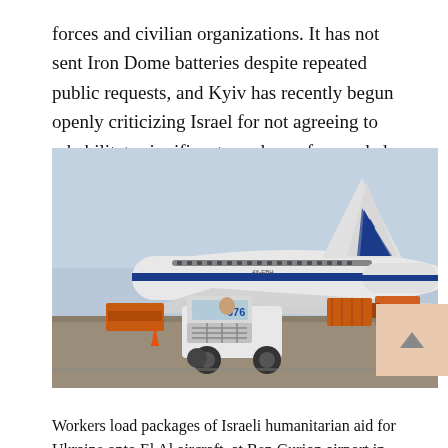forces and civilian organizations. It has not sent Iron Dome batteries despite repeated public requests, and Kyiv has recently begun openly criticizing Israel for not agreeing to rehabilitate significant numbers of wounded Ukrainian soldiers.
[Figure (photo): An El Al aircraft on the tarmac at Ben Gurion airport, with a white ground vehicle numbered 676 in the foreground and orange cargo containers being loaded.]
Workers load packages of Israeli humanitarian aid for Ukraine onto El Al aircraft, at Ben Gurion airport in Tel Aviv